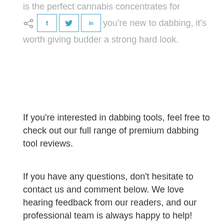is the perfect cannabis concentrates for beginners. If you're new to dabbing, it's worth giving budder a strong hard look.
If you're interested in dabbing tools, feel free to check out our full range of premium dabbing tool reviews.
If you have any questions, don't hesitate to contact us and comment below. We love hearing feedback from our readers, and our professional team is always happy to help!
TAGS